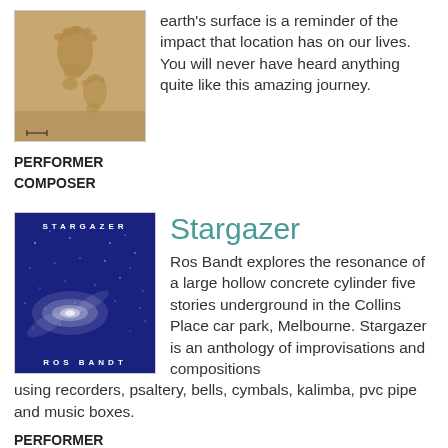[Figure (photo): Aerial photo of footprints in sand on a beach]
earth's surface is a reminder of the impact that location has on our lives. You will never have heard anything quite like this amazing journey.
PERFORMER
COMPOSER
[Figure (photo): Album cover for Stargazer by Ros Bandt – dark blue background with galaxy image, text STARGAZER at top and ROS BANDT at bottom]
Stargazer
Ros Bandt explores the resonance of a large hollow concrete cylinder five stories underground in the Collins Place car park, Melbourne. Stargazer is an anthology of improvisations and compositions using recorders, psaltery, bells, cymbals, kalimba, pvc pipe and music boxes.
PERFORMER